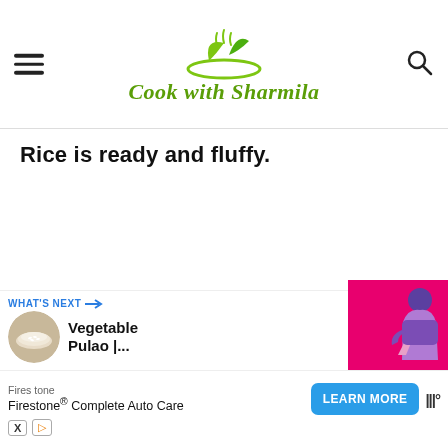Cook with Sharmila
Rice is ready and fluffy.
[Figure (infographic): Social sidebar with heart/like button showing count 2 and share button]
[Figure (infographic): What's Next promo showing Vegetable Pulao with circular food image]
[Figure (infographic): Pink promotional banner on right side]
[Figure (infographic): Advertisement bar: Firestone Complete Auto Care with Learn More button]